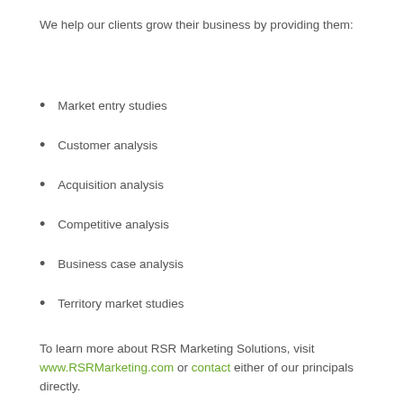We help our clients grow their business by providing them:
Market entry studies
Customer analysis
Acquisition analysis
Competitive analysis
Business case analysis
Territory market studies
To learn more about RSR Marketing Solutions, visit www.RSRMarketing.com or contact either of our principals directly.